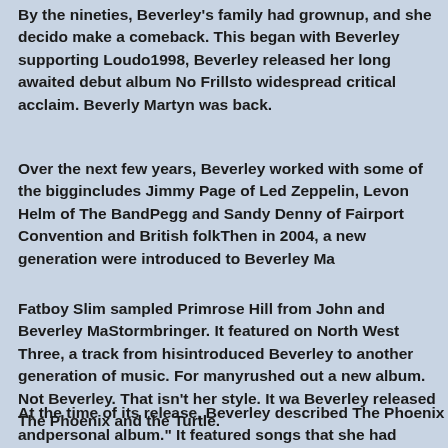By the nineties, Beverley's family had grownup, and she decided to make a comeback. This began with Beverley supporting Loudo... 1998, Beverley released her long awaited debut album No Frills to widespread critical acclaim. Beverly Martyn was back.
Over the next few years, Beverley worked with some of the big... includes Jimmy Page of Led Zeppelin, Levon Helm of The Band... Pegg and Sandy Denny of Fairport Convention and British folk... Then in 2004, a new generation were introduced to Beverley Ma...
Fatboy Slim sampled Primrose Hill from John and Beverley Ma... Stormbringer. It featured on North West Three, a track from his... introduced Beverley to another generation of music. For many rushed out a new album. Not Beverley. That isn't her style. It wa... Beverley releasedThe Phoenix and the Turtle.
At the time of its release, Beverley described The Phoenix and personal album." It featured songs that she had written through... This includes the first song she wrote, Sweet Joy. Reckless Ja... and Nick Drakes started to write. Sadly, they never finished it. B...